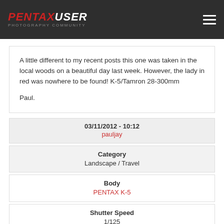PENTAXUSER
A little different to my recent posts this one was taken in the local woods on a beautiful day last week. However, the lady in red was nowhere to be found! K-5/Tamron 28-300mm

Paul.
| 03/11/2012 - 10:12 | pauljay |
| Category | Landscape / Travel |
| Body | PENTAX K-5 |
| Shutter Speed | 1/125 |
| Aperture |  |